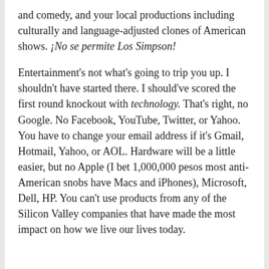and comedy, and your local productions including culturally and language-adjusted clones of American shows. ¡No se permite Los Simpson!
Entertainment's not what's going to trip you up. I shouldn't have started there. I should've scored the first round knockout with technology. That's right, no Google. No Facebook, YouTube, Twitter, or Yahoo. You have to change your email address if it's Gmail, Hotmail, Yahoo, or AOL. Hardware will be a little easier, but no Apple (I bet 1,000,000 pesos most anti-American snobs have Macs and iPhones), Microsoft, Dell, HP. You can't use products from any of the Silicon Valley companies that have made the most impact on how we live our lives today.